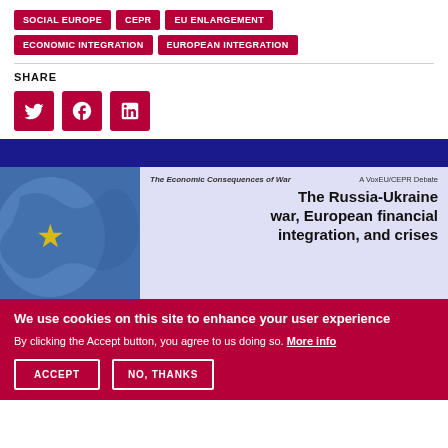SOCIAL EUROPE
CEPR
EU ENLARGEMENT
ECONOMIC INTEGRATION
EUROPEAN INTEGRATION
SHARE
[Figure (illustration): Social media share buttons: Twitter, Facebook, LinkedIn (dark red rounded squares)]
[Figure (illustration): Book banner: The Economic Consequences of War — A VoxEU/CEPR Debate. The Russia-Ukraine war, European financial integration, and crises. Left side shows EU puzzle pieces illustration.]
We use cookies on this site to enhance your user experience
By clicking the Accept button, you agree to us doing so. More info
ACCEPT
NO, THANKS